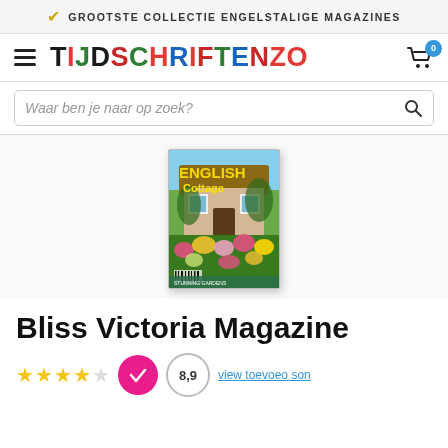GROOTSTE COLLECTIE ENGELSTALIGE MAGAZINES
[Figure (logo): TIJDSCHRIFTENZO logo with colorful letters and hamburger menu icon, cart icon with badge showing 0]
Waar ben je naar op zoek?
[Figure (photo): Cover of English Cottage magazine showing a cottage surrounded by colorful garden flowers]
Bliss Victoria Magazine
[Figure (other): KiYOH badge (pink circle with checkmark) and score badge showing 8,9]
view toevoeo son